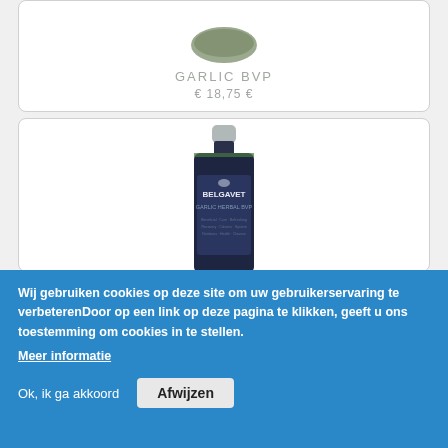[Figure (photo): Top portion of a product card showing a dark green round container/jar (garlic supplement product), partially cropped at top]
GARLIC BVP
€ 18,75 €
[Figure (photo): Product card showing a dark navy blue bottle with a grey cap labeled BELGAVET GARLIC HERBAL BVP with text on the label]
Wij gebruiken cookies op deze site om uw gebruikerservaring te verbeterenDoor op een link op deze pagina te klikken, geeft u ons toestemming om cookies in te stellen.
Meer informatie
Ok, ik ga akkoord
Afwijzen